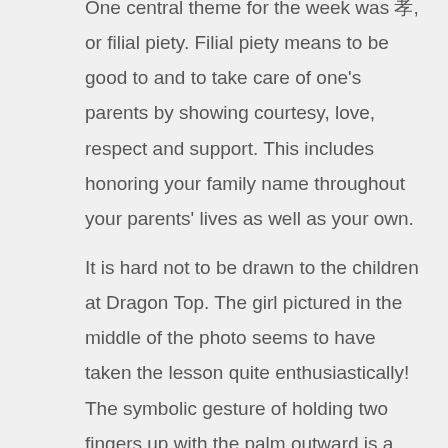One central theme for the week was 孝, or filial piety. Filial piety means to be good to and to take care of one's parents by showing courtesy, love, respect and support. This includes honoring your family name throughout your parents' lives as well as your own.
It is hard not to be drawn to the children at Dragon Top. The girl pictured in the middle of the photo seems to have taken the lesson quite enthusiastically! The symbolic gesture of holding two fingers up with the palm outward is a sign of happiness and positivity in Chinese culture.